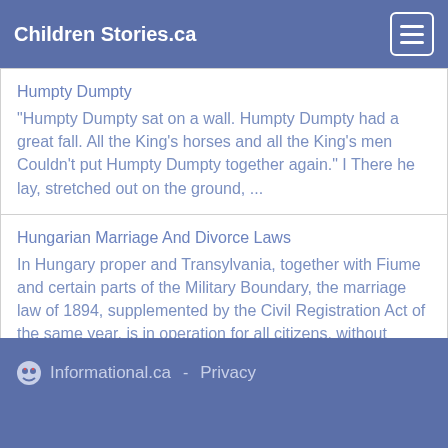Children Stories.ca
Humpty Dumpty
"Humpty Dumpty sat on a wall. Humpty Dumpty had a great fall. All the King's horses and all the King's men Couldn't put Humpty Dumpty together again." I There he lay, stretched out on the ground, ...
Hungarian Marriage And Divorce Laws
In Hungary proper and Transylvania, together with Fiume and certain parts of the Military Boundary, the marriage law of 1894, supplemented by the Civil Registration Act of the same year, is in operation for all citizens, without regard to religiou...
Informational.ca - Privacy